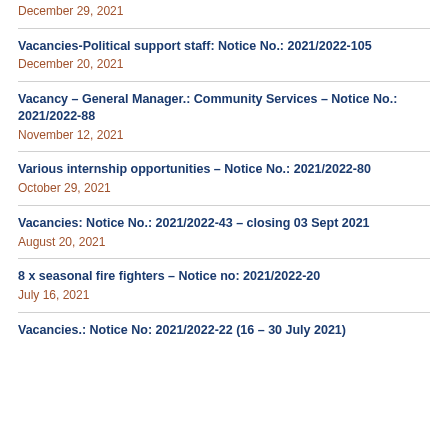December 29, 2021
Vacancies-Political support staff: Notice No.: 2021/2022-105
December 20, 2021
Vacancy – General Manager.: Community Services – Notice No.: 2021/2022-88
November 12, 2021
Various internship opportunities – Notice No.: 2021/2022-80
October 29, 2021
Vacancies: Notice No.: 2021/2022-43 – closing 03 Sept 2021
August 20, 2021
8 x seasonal fire fighters – Notice no: 2021/2022-20
July 16, 2021
Vacancies.: Notice No: 2021/2022-22 (16 – 30 July 2021)